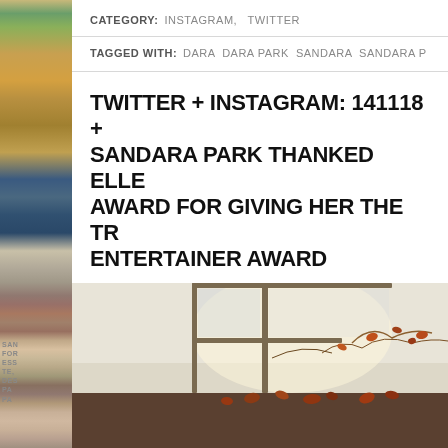[Figure (photo): Left sidebar showing a decorative magazine-style vertical image strip with green, yellow, and brown tones and text overlays reading SAN, FOR, ESS, TE, DES, PA]
CATEGORY: INSTAGRAM, TWITTER
TAGGED WITH: DARA DARA PARK SANDARA SANDARA P
TWITTER + INSTAGRAM: 141118 + SANDARA PARK THANKED ELLE AWARD FOR GIVING HER THE TR ENTERTAINER AWARD
[Figure (photo): A photo showing an autumn/winter scene with a window frame and dried leaves or vines in the foreground, muted warm tones]